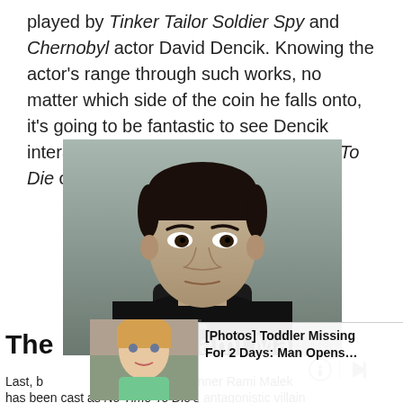played by Tinker Tailor Soldier Spy and Chernobyl actor David Dencik. Knowing the actor's range through such works, no matter which side of the coin he falls onto, it's going to be fantastic to see Dencik interacting with the rest of the No Time To Die cast in either context.
[Figure (photo): Black and white style portrait of a young man with dark hair wearing a black hoodie, looking intensely at the camera against a muted background.]
[Figure (photo): Overlay advertisement image showing a young toddler girl with blonde hair with ad text 'Photos: Toddler Missing For 2 Days: Man Opens…']
The [Rami Malek]
Last, b… lemy Award winner Rami Malek has been cast as No Time To Die's antagonistic villain